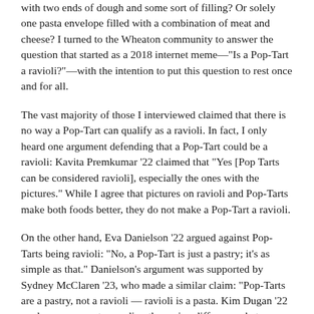with two ends of dough and some sort of filling? Or solely one pasta envelope filled with a combination of meat and cheese? I turned to the Wheaton community to answer the question that started as a 2018 internet meme—"Is a Pop-Tart a ravioli?"—with the intention to put this question to rest once and for all.
The vast majority of those I interviewed claimed that there is no way a Pop-Tart can qualify as a ravioli. In fact, I only heard one argument defending that a Pop-Tart could be a ravioli: Kavita Premkumar '22 claimed that "Yes [Pop Tarts can be considered ravioli], especially the ones with the pictures." While I agree that pictures on ravioli and Pop-Tarts make both foods better, they do not make a Pop-Tart a ravioli.
On the other hand, Eva Danielson '22 argued against Pop-Tarts being ravioli: "No, a Pop-Tart is just a pastry; it's as simple as that." Danielson's argument was supported by Sydney McClaren '23, who made a similar claim: "Pop-Tarts are a pastry, not a ravioli — ravioli is a pasta. Kim Dugan '22 made an argument regarding the casing differences between a ravioli and a Pop-Tart: "the definition [of ravioli] says it's a pasta envelope but